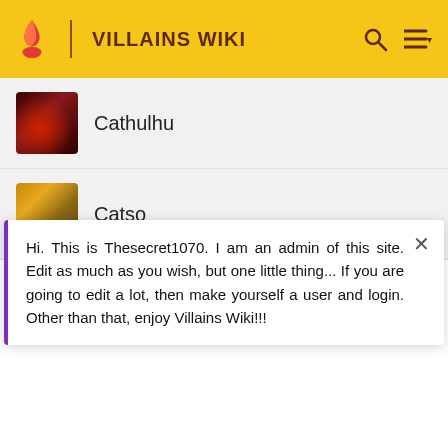VILLAINS WIKI
Cathulhu
Catso
Hi. This is Thesecret1070. I am an admin of this site. Edit as much as you wish, but one little thing... If you are going to edit a lot, then make yourself a user and login. Other than that, enjoy Villains Wiki!!!
[Figure (screenshot): HBO Max advertisement for House of the Dragon with Game of Thrones branding on dark background, purple HBO Max logo and Sign Up Now button on right side]